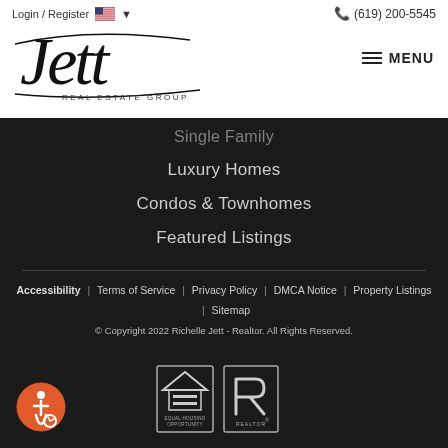Login / Register | (619) 200-5545
[Figure (logo): Jett Real Estate Group script logo]
MENU
Single Family
Luxury Homes
Condos & Townhomes
Featured Listings
Accessibility | Terms of Service | Privacy Policy | DMCA Notice | Property Listings | Sitemap
© Copyright 2022 Richelle Jett - Realtor. All Rights Reserved.
[Figure (illustration): Accessibility icon (orange circle with wheelchair symbol)]
[Figure (logo): Equal Housing Opportunity logo]
[Figure (logo): REALTOR logo]